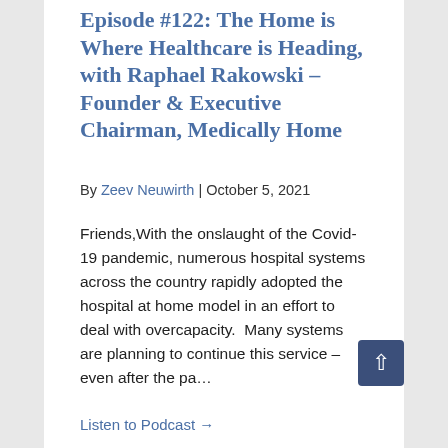Episode #122: The Home is Where Healthcare is Heading, with Raphael Rakowski – Founder & Executive Chairman, Medically Home
By Zeev Neuwirth | October 5, 2021
Friends,With the onslaught of the Covid-19 pandemic, numerous hospital systems across the country rapidly adopted the hospital at home model in an effort to deal with overcapacity.  Many systems are planning to continue this service – even after the pa…
Listen to Podcast →
Episode #121: A 'Master Class' in building a healthcare consumer…